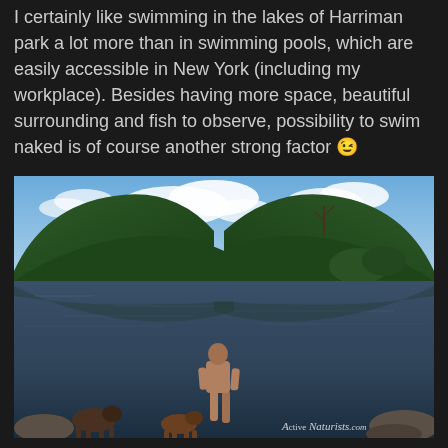I certainly like swimming in the lakes of Harriman park a lot more than in swimming pools, which are easily accessible in New York (including my workplace). Besides having more space, beautiful surrounding and fish to observe, possibility to swim naked is of course another strong factor 😉
[Figure (photo): A scenic lake surrounded by green forested hills under a partly cloudy sky. In the foreground, a person standing at the water's edge along with two dogs. A watermark reading 'Active Naturists .com' is visible in the lower right corner.]